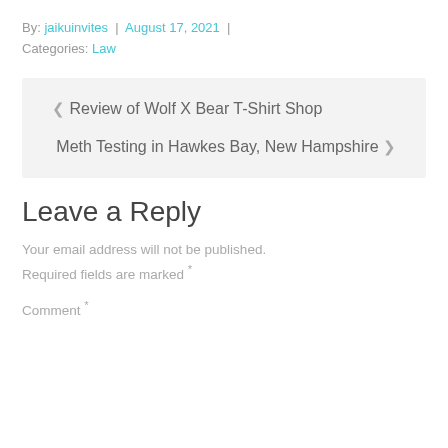By: jaikuinvites | August 17, 2021 | Categories: Law
< Review of Wolf X Bear T-Shirt Shop
Meth Testing in Hawkes Bay, New Hampshire >
Leave a Reply
Your email address will not be published. Required fields are marked *
Comment *